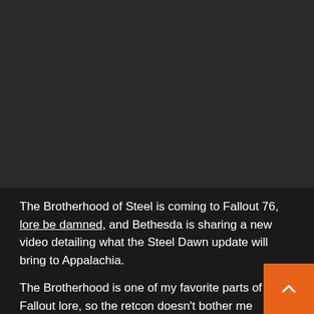[Figure (photo): Dark/black image area placeholder at the top of the page, appearing to be a video or image that is not loading or is obscured]
The Brotherhood of Steel is coming to Fallout 76, lore be damned, and Bethesda is sharing a new video detailing what the Steel Dawn update will bring to Appalachia.
The Brotherhood is one of my favorite parts of Fallout lore, so the retcon doesn't bother me personally one bit.